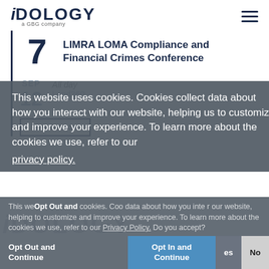[Figure (logo): IDology a GBG company logo in top left, with hamburger menu icon top right]
LIMRA LOMA Compliance and Financial Crimes Conference
SEP 12   All day
Lend360
View Calendar
This website uses cookies. Cookies collect data about how you interact with our website, helping us to customize and improve your experience. To learn more about the cookies we use, refer to our privacy policy.
This website uses cookies. Cookies collect data about how you interact with our website, helping us to customize and improve your experience. To learn more about the cookies we use, refer to our Privacy Policy. Do you accept?
Opt Out and Continue
Opt In and Continue
Yes
No